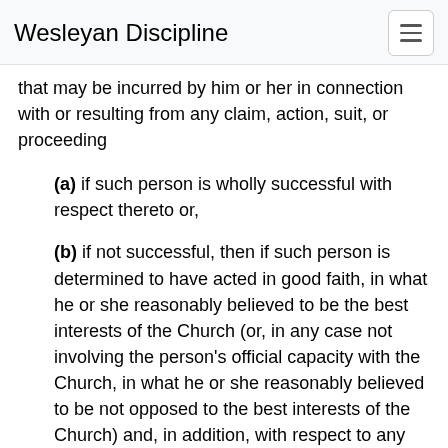Wesleyan Discipline
that may be incurred by him or her in connection with or resulting from any claim, action, suit, or proceeding
(a) if such person is wholly successful with respect thereto or,
(b) if not successful, then if such person is determined to have acted in good faith, in what he or she reasonably believed to be the best interests of the Church (or, in any case not involving the person's official capacity with the Church, in what he or she reasonably believed to be not opposed to the best interests of the Church) and, in addition, with respect to any criminal action or proceeding, is determined to have had reasonable cause to believe that his or her conduct was lawful (or no reasonable cause to believe that the conduct was unlawful). The termination of any